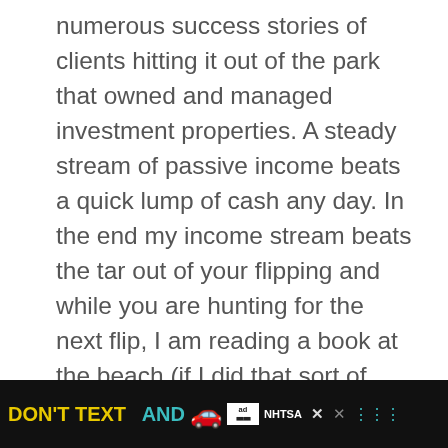numerous success stories of clients hitting it out of the park that owned and managed investment properties. A steady stream of passive income beats a quick lump of cash any day. In the end my income stream beats the tar out of your flipping and while you are hunting for the next flip, I am reading a book at the beach (if I did that sort of thing).
Owning Right
[Figure (other): What's Next arrow label with thumbnail image and text: Prepare Your Own Taxes t...]
Buying the property right is the only way to win th...
[Figure (other): Ad banner: DON'T TEXT AND [car emoji] ad label NHTSA with close buttons]